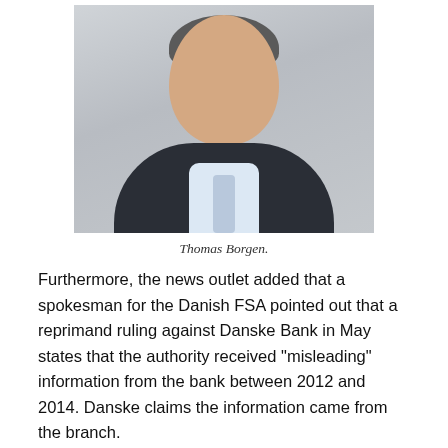[Figure (photo): Portrait photograph of Thomas Borgen, a middle-aged man with grey hair wearing a dark suit and light blue shirt with a blue/grey tie, against a light grey background.]
Thomas Borgen.
Furthermore, the news outlet added that a spokesman for the Danish FSA pointed out that a reprimand ruling against Danske Bank in May states that the authority received “misleading” information from the bank between 2012 and 2014. Danske claims the information came from the branch.
While the Financial Times recently reported that Thomas